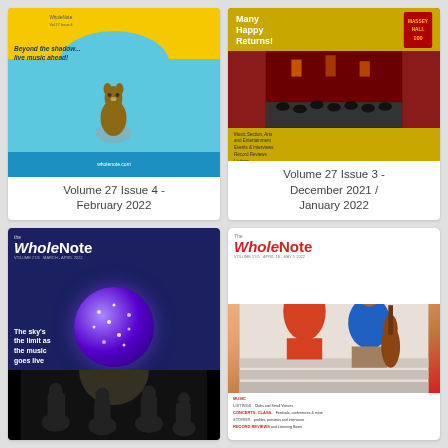[Figure (illustration): Magazine cover: The WholeNote Volume 27 Issue 4 - February 2022. Blue background with yellow arc at top, groundhog image, text 'Beyond the shadow... live music ahead!']
Volume 27 Issue 4 - February 2022
[Figure (illustration): Magazine cover: The WholeNote Volume 27 Issue 3 - December 2021 / January 2022. Dark red background with gold bar, Massey Hall sign, crowd scene.]
Volume 27 Issue 3 - December 2021 / January 2022
[Figure (illustration): Magazine cover: The WholeNote, dark blue background with disco ball, orchestra performing, text 'The sky's the limit as the music goes live']
[Figure (illustration): Magazine cover: The WholeNote, red background with two young musicians sitting on stairs holding a cello, various section headings at bottom.]